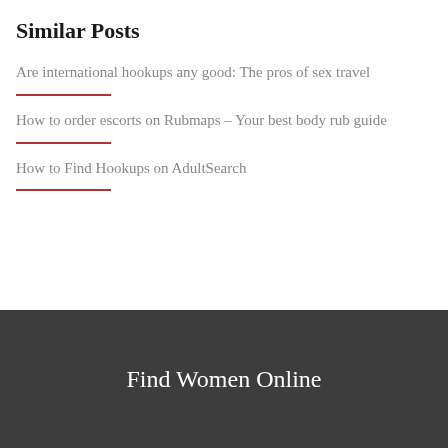Similar Posts
Are international hookups any good: The pros of sex travel
How to order escorts on Rubmaps – Your best body rub guide
How to Find Hookups on AdultSearch
Find Women Online